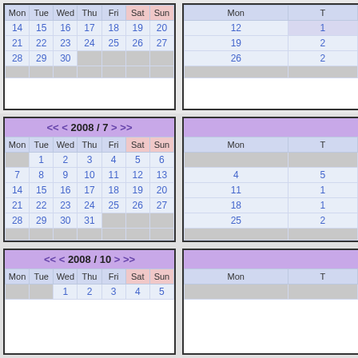| Mon | Tue | Wed | Thu | Fri | Sat | Sun |
| --- | --- | --- | --- | --- | --- | --- |
| 14 | 15 | 16 | 17 | 18 | 19 | 20 |
| 21 | 22 | 23 | 24 | 25 | 26 | 27 |
| 28 | 29 | 30 |  |  |  |  |
| Mon | T |
| --- | --- |
| 12 |  |
| 19 |  |
| 26 |  |
| Mon | Tue | Wed | Thu | Fri | Sat | Sun |
| --- | --- | --- | --- | --- | --- | --- |
|  | 1 | 2 | 3 | 4 | 5 | 6 |
| 7 | 8 | 9 | 10 | 11 | 12 | 13 |
| 14 | 15 | 16 | 17 | 18 | 19 | 20 |
| 21 | 22 | 23 | 24 | 25 | 26 | 27 |
| 28 | 29 | 30 | 31 |  |  |  |
| Mon | T |
| --- | --- |
|  |  |
| 4 | 5 |
| 11 | 1 |
| 18 | 1 |
| 25 |  |
| Mon | Tue | Wed | Thu | Fri | Sat | Sun |
| --- | --- | --- | --- | --- | --- | --- |
|  |  | 1 | 2 | 3 | 4 | 5 |